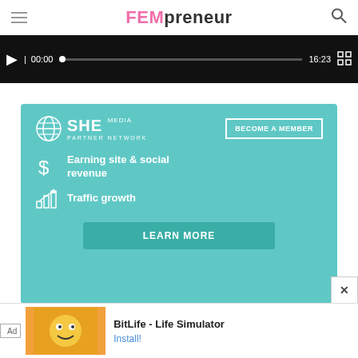FEMpreneur
[Figure (screenshot): Video player bar showing play button, timecode 00:00, progress bar, duration 16:23, and fullscreen controls on dark background]
[Figure (infographic): SHE Media Partner Network advertisement on teal background. Header with SHE globe logo and BECOME A MEMBER button. Features: dollar sign icon with 'Earning site & social revenue', bar chart icon with 'Traffic growth'. LEARN MORE button at bottom.]
[Figure (screenshot): Banner ad for BitLife - Life Simulator with Install button]